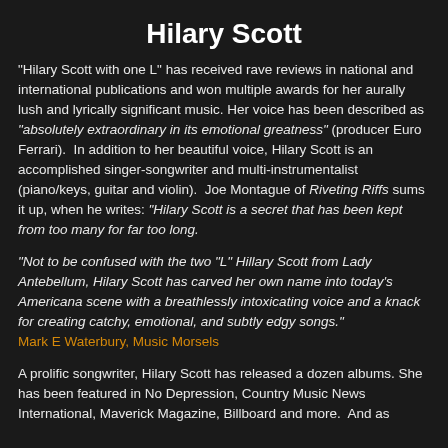Hilary Scott
“Hilary Scott with one L” has received rave reviews in national and international publications and won multiple awards for her aurally lush and lyrically significant music. Her voice has been described as “absolutely extraordinary in its emotional greatness” (producer Euro Ferrari).  In addition to her beautiful voice, Hilary Scott is an accomplished singer-songwriter and multi-instrumentalist (piano/keys, guitar and violin).  Joe Montague of Riveting Riffs sums it up, when he writes: “Hilary Scott is a secret that has been kept from too many for far too long.
“Not to be confused with the two “L” Hillary Scott from Lady Antebellum, Hilary Scott has carved her own name into today’s Americana scene with a breathlessly intoxicating voice and a knack for creating catchy, emotional, and subtly edgy songs.” Mark E Waterbury, Music Morsels
A prolific songwriter, Hilary Scott has released a dozen albums. She has been featured in No Depression, Country Music News International, Maverick Magazine, Billboard and more.  And as